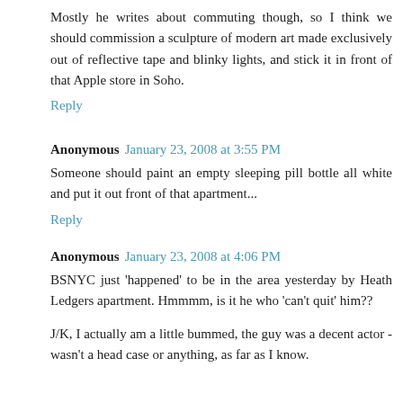Mostly he writes about commuting though, so I think we should commission a sculpture of modern art made exclusively out of reflective tape and blinky lights, and stick it in front of that Apple store in Soho.
Reply
Anonymous  January 23, 2008 at 3:55 PM
Someone should paint an empty sleeping pill bottle all white and put it out front of that apartment...
Reply
Anonymous  January 23, 2008 at 4:06 PM
BSNYC just 'happened' to be in the area yesterday by Heath Ledgers apartment. Hmmmm, is it he who 'can't quit' him??
J/K, I actually am a little bummed, the guy was a decent actor - wasn't a head case or anything, as far as I know.